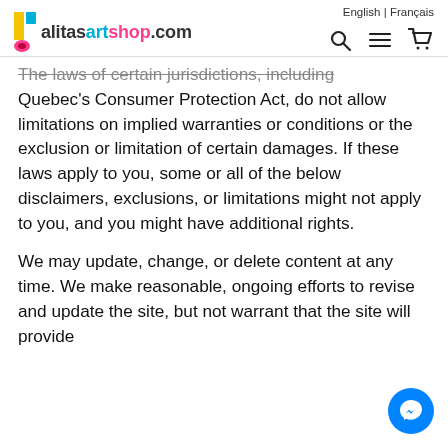English | Français
[Figure (logo): alitasartshop.com logo with colorful icon and navigation icons (search, menu, cart)]
The laws of certain jurisdictions, including Quebec's Consumer Protection Act, do not allow limitations on implied warranties or conditions or the exclusion or limitation of certain damages. If these laws apply to you, some or all of the below disclaimers, exclusions, or limitations might not apply to you, and you might have additional rights.
We may update, change, or delete content at any time. We make reasonable, ongoing efforts to revise and update the site, but not warrant that the site will provide